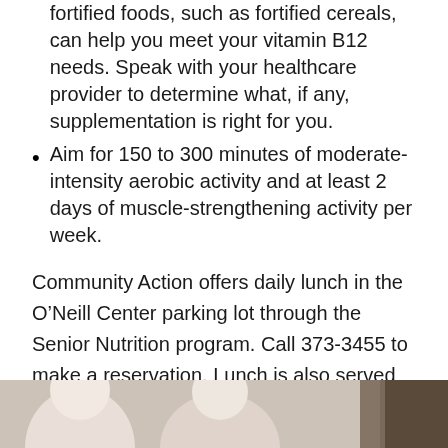fortified foods, such as fortified cereals, can help you meet your vitamin B12 needs. Speak with your healthcare provider to determine what, if any, supplementation is right for you.
Aim for 150 to 300 minutes of moderate-intensity aerobic activity and at least 2 days of muscle-strengthening activity per week.
Community Action offers daily lunch in the O’Neill Center parking lot through the Senior Nutrition program. Call 373-3455 to make a reservation. Lunch is also served at the Belpre Senior Center on Tuesdays and Thursdays. Contact us for more information. For locations of area farms and farmers’ markets, visit https://buckeyehills.org/sfmnp
[Figure (photo): Photo of elderly people, partially visible at the bottom of the page, appearing to be in a social or dining setting.]